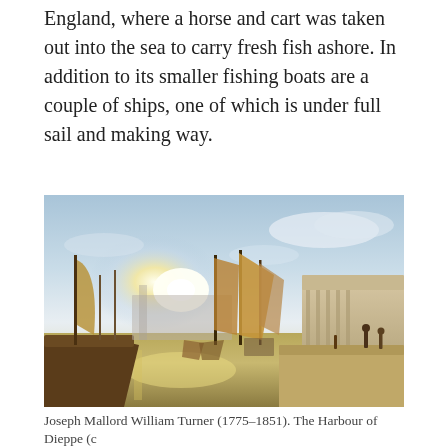England, where a horse and cart was taken out into the sea to carry fresh fish ashore. In addition to its smaller fishing boats are a couple of ships, one of which is under full sail and making way.
[Figure (illustration): Painting: Joseph Mallord William Turner (1775–1851), The Harbour of Dieppe. A luminous harbour scene with sailing vessels, figures on a quayside, and grand buildings on the right, under a glowing sky.]
Joseph Mallord William Turner (1775–1851). The Harbour of Dieppe (c